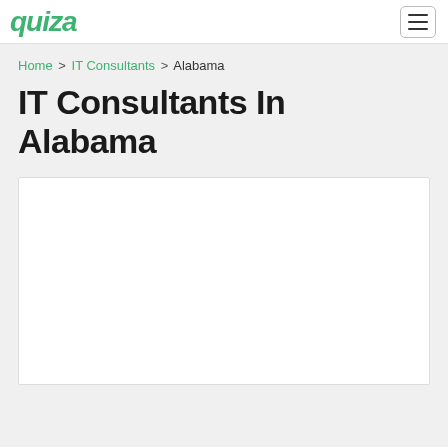quiza
Home > IT Consultants > Alabama
IT Consultants In Alabama
[Figure (map): Map placeholder area showing a white box, likely a Google Map or similar embedded map of Alabama IT consultants]